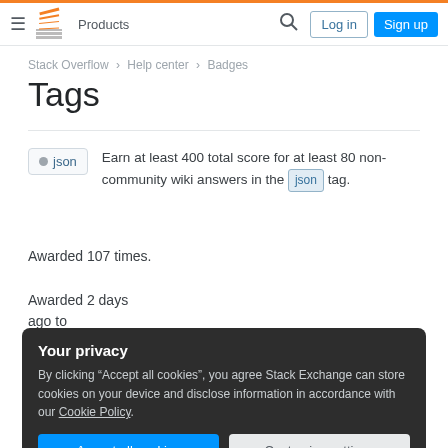≡  [Stack Overflow logo]  Products   🔍   Log in   Sign up
Stack Overflow > Help center > Badges
Tags
Earn at least 400 total score for at least 80 non-community wiki answers in the json tag.
Awarded 107 times.
Awarded 2 days ago to
Your privacy
By clicking "Accept all cookies", you agree Stack Exchange can store cookies on your device and disclose information in accordance with our Cookie Policy.
Accept all cookies   Customize settings